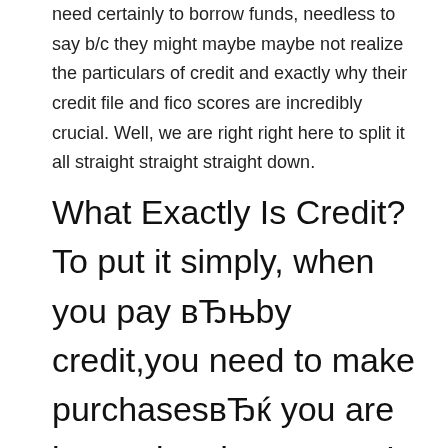need certainly to borrow funds, needless to say b/c they might maybe maybe not realize the particulars of credit and exactly why their credit file and fico scores are incredibly crucial. Well, we are right right here to split it all straight straight straight down.
What Exactly Is Credit? To put it simply, when you pay вЂњby credit,you need to make purchasesвЂќ you are borrowing the money. In return for that funding, you generally consent to spend the financial institution right back the quantity you invest or borrow, plus interest. Below are a few of the very ways that are common utilize credit: